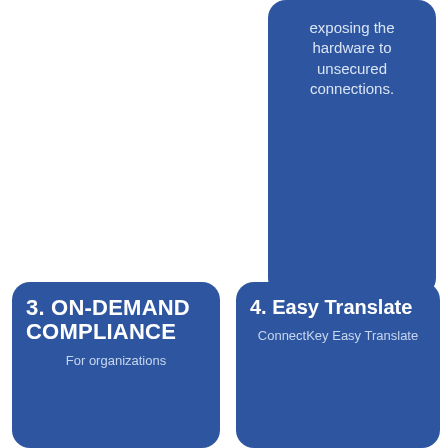[Figure (infographic): Blue rounded card (top right, partially visible) with text: 'exposing the hardware to unsecured connections.']
[Figure (infographic): Blue rounded card (bottom left) with large title '3. ON-DEMAND COMPLIANCE' and body text 'For organizations']
[Figure (infographic): Blue rounded card (bottom right) with title '4. Easy Translate' and body text 'ConnectKey Easy Translate']